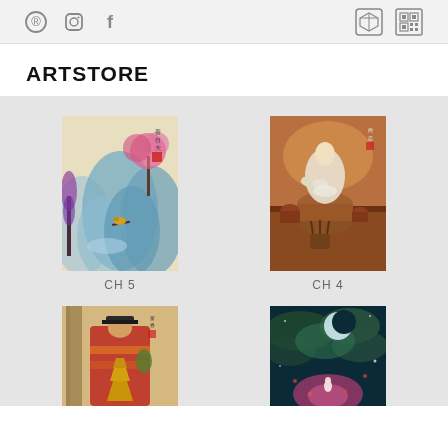Social media icons (Pinterest, Instagram, Facebook) and two app/store icons on the right
ARTSTORE
[Figure (illustration): Chinese traditional landscape painting with blue mountains, cherry blossoms, and a bird on a branch]
CH 5
[Figure (illustration): Fantasy art of a figure in white robes working with a large clay pot, warm brown tones]
CH 4
[Figure (illustration): Traditional Chinese painting of an emperor or official in colorful robes with an official hat]
[Figure (illustration): Fantasy illustration with a crescent moon, swirling green clouds, and a pink glowing figure below]